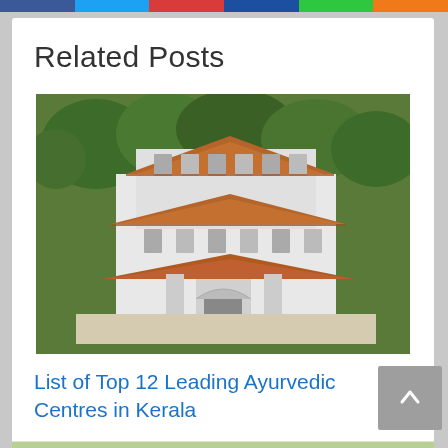Social media sharing bar with colored segments
Related Posts
[Figure (photo): Aerial view of a Kerala-style white building with orange/terracotta tiled roofs, surrounded by green trees. Traditional architectural style with multi-tiered roofing.]
List of Top 12 Leading Ayurvedic Centres in Kerala
[Figure (photo): Bottom portion of another post image showing green leaves/plants, partially visible at the bottom of the page.]